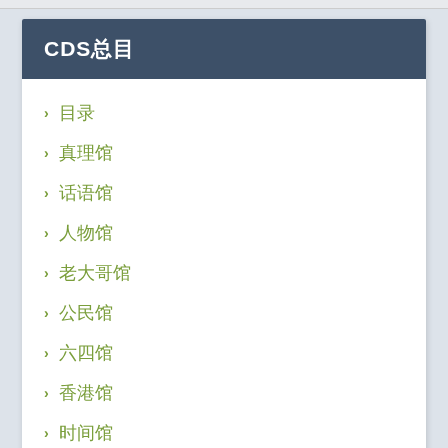CDS总目
目录
真理馆
话语馆
人物馆
老大哥馆
公民馆
六四馆
香港馆
时间馆
CDS专页
审查员交班日志（更新中)